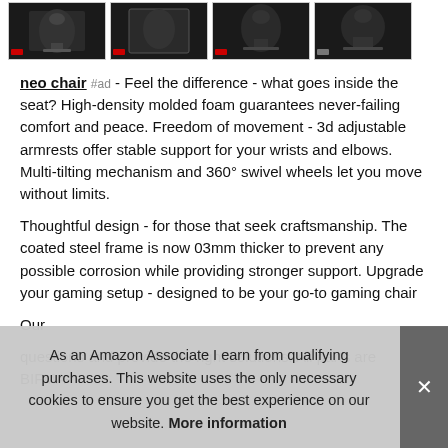[Figure (photo): Strip of four product thumbnail images of a gaming chair against dark backgrounds]
neo chair #ad - Feel the difference - what goes inside the seat? High-density molded foam guarantees never-failing comfort and peace. Freedom of movement - 3d adjustable armrests offer stable support for your wrists and elbows. Multi-tilting mechanism and 360° swivel wheels let you move without limits.
Thoughtful design - for those that seek craftsmanship. The coated steel frame is now 03mm thicker to prevent any possible corrosion while providing stronger support. Upgrade your gaming setup - designed to be your go-to gaming chair
Our questions and provide the right solutions. All parts are BIFMA-
As an Amazon Associate I earn from qualifying purchases. This website uses the only necessary cookies to ensure you get the best experience on our website. More information